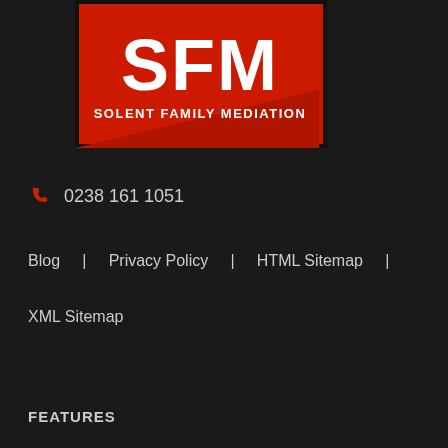[Figure (logo): Solent Family Mediation logo — red square background with white SFM letters and 'SOLENT FAMILY MEDIATION' text below, with diagonal red stripe detail]
0238 161 1051
Blog | Privacy Policy | HTML Sitemap |
XML Sitemap
FEATURES